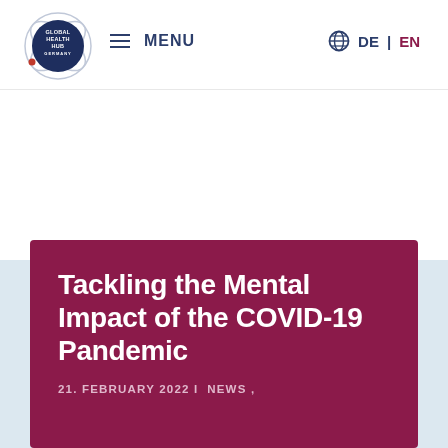[Figure (logo): Global Health Hub Germany logo — dark navy blue circle with orbit lines and red dot, text reading GLOBAL HEALTH HUB GERMANY]
≡ MENU   🌐  DE  |  EN
Tackling the Mental Impact of the COVID-19 Pandemic
21. FEBRUARY 2022 |  NEWS ,